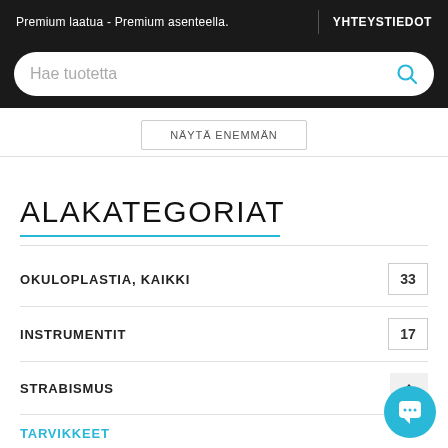Premium laatua - Premium asenteella.  |  YHTEYSTIEDOT
Hae tuotetta
NÄYTÄ ENEMMÄN
ALAKATEGORIAT
OKULOPLASTIA, KAIKKI  33
INSTRUMENTIT  17
STRABISMUS
TARVIKKEET
VEITSET